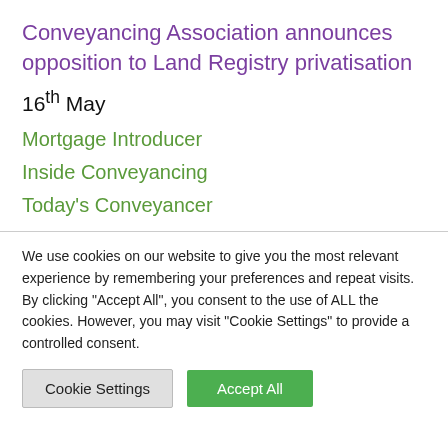Conveyancing Association announces opposition to Land Registry privatisation
16th May
Mortgage Introducer
Inside Conveyancing
Today's Conveyancer
We use cookies on our website to give you the most relevant experience by remembering your preferences and repeat visits. By clicking "Accept All", you consent to the use of ALL the cookies. However, you may visit "Cookie Settings" to provide a controlled consent.